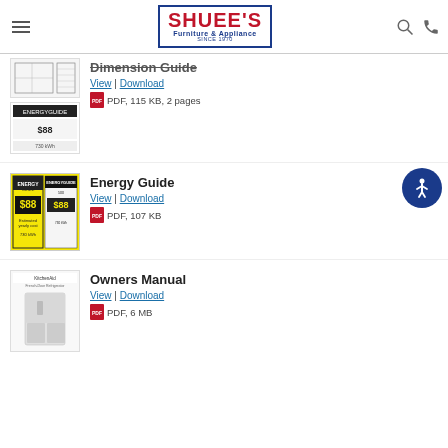Shuee's Furniture & Appliance — navigation header
Dimension Guide
View | Download
PDF, 115 KB, 2 pages
Energy Guide
View | Download
PDF, 107 KB
Owners Manual
View | Download
PDF, 6 MB